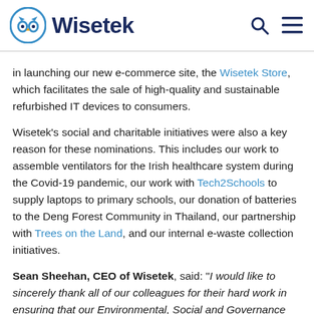Wisetek
in launching our new e-commerce site, the Wisetek Store, which facilitates the sale of high-quality and sustainable refurbished IT devices to consumers.
Wisetek's social and charitable initiatives were also a key reason for these nominations. This includes our work to assemble ventilators for the Irish healthcare system during the Covid-19 pandemic, our work with Tech2Schools to supply laptops to primary schools, our donation of batteries to the Deng Forest Community in Thailand, our partnership with Trees on the Land, and our internal e-waste collection initiatives.
Sean Sheehan, CEO of Wisetek, said: "I would like to sincerely thank all of our colleagues for their hard work in ensuring that our Environmental, Social and Governance practices and initiatives are planned and executed to such a high standard. These nominations are a tremendous honour and a true endorsement of all